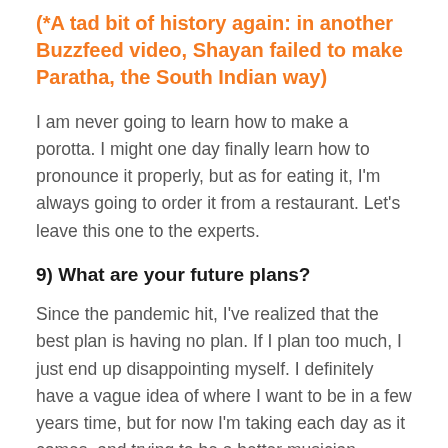(*A tad bit of history again: in another Buzzfeed video, Shayan failed to make Paratha, the South Indian way)
I am never going to learn how to make a porotta. I might one day finally learn how to pronounce it properly, but as for eating it, I'm always going to order it from a restaurant. Let's leave this one to the experts.
9) What are your future plans?
Since the pandemic hit, I've realized that the best plan is having no plan. If I plan too much, I just end up disappointing myself. I definitely have a vague idea of where I want to be in a few years time, but for now I'm taking each day as it comes, and trying to be a better musician, creator and person with each passing day. Can't really control or plan much